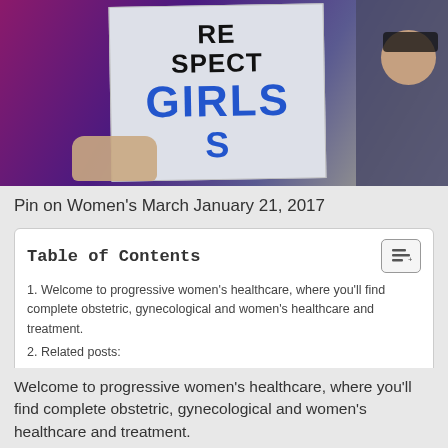[Figure (photo): Photo of a person holding a protest sign reading 'RESPECT GIRLS' at Women's March]
Pin on Women's March January 21, 2017
| Table of Contents |
| --- |
| 1. Welcome to progressive women's healthcare, where you'll find complete obstetric, gynecological and women's healthcare and treatment. |
| 2. Related posts: |
Welcome to progressive women's healthcare, where you'll find complete obstetric, gynecological and women's healthcare and treatment.
[Figure (photo): Black and white photo of women, historical image]